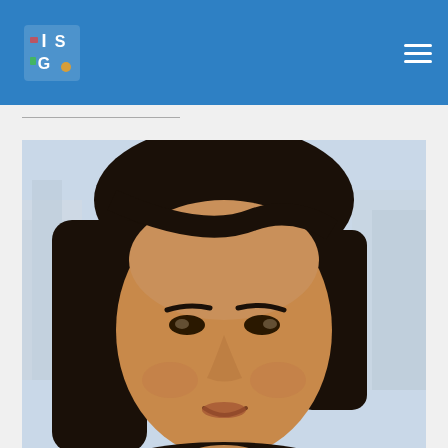[Figure (logo): IJSG logo with letters I, S, G and stylized figures, on blue header bar]
[Figure (photo): Portrait photo of Nisha Panwar, a woman with long dark hair, outdoors with blurred city background]
Nisha Panwar is currently a post-doctoral scholar at University of California, Irvine. She did her Ph.D. within